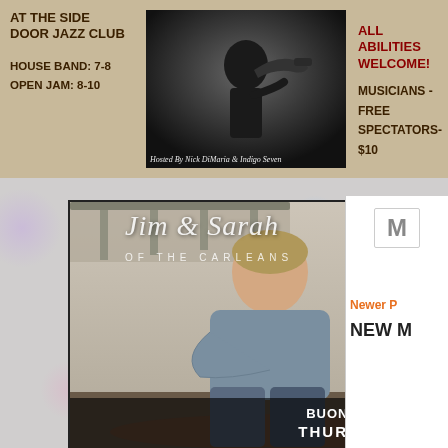AT THE SIDE DOOR JAZZ CLUB
HOUSE BAND: 7-8
OPEN JAM: 8-10
[Figure (photo): Jazz musician playing trumpet, black and white photo. Caption: Hosted By Nick DiMaria & Indigo Seven]
ALL ABILITIES WELCOME!
MUSICIANS - FREE
SPECTATORS - $10
[Figure (photo): Promotional flyer showing Jim & Sarah of The Carleans seated on a sofa. Text: Jim & Sarah OF THE CARLEANS. BUON APPETITO, N STONINGTON CT. THURSDAY AUGUST 25 7 PM]